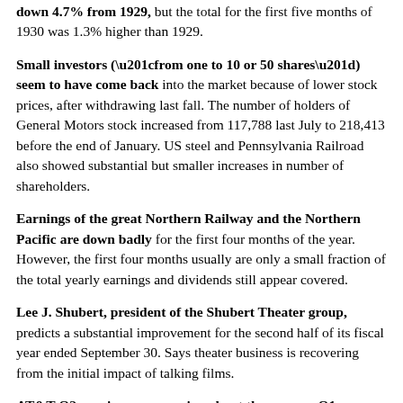down 4.7% from 1929, but the total for the first five months of 1930 was 1.3% higher than 1929.
Small investors (“from one to 10 or 50 shares”) seem to have come back into the market because of lower stock prices, after withdrawing last fall. The number of holders of General Motors stock increased from 117,788 last July to 218,413 before the end of January. US steel and Pennsylvania Railroad also showed substantial but smaller increases in number of shareholders.
Earnings of the great Northern Railway and the Northern Pacific are down badly for the first four months of the year. However, the first four months usually are only a small fraction of the total yearly earnings and dividends still appear covered.
Lee J. Shubert, president of the Shubert Theater group, predicts a substantial improvement for the second half of its fiscal year ended September 30. Says theater business is recovering from the initial impact of talking films.
AT&T Q2 earnings are running about the same as Q1,